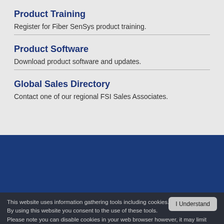Product Training
Register for Fiber SenSys product training.
Product Software
Download product software and updates.
Global Sales Directory
Contact one of our regional FSI Sales Associates.
This website uses information gathering tools including cookies. By using this website you consent to the use of these tools. Please note you can disable cookies in your web browser however, it may limit usage of